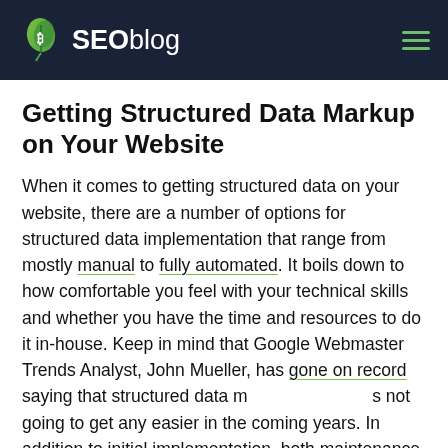SEOblog
Getting Structured Data Markup on Your Website
When it comes to getting structured data on your website, there are a number of options for structured data implementation that range from mostly manual to fully automated. It boils down to how comfortable you feel with your technical skills and whether you have the time and resources to do it in-house. Keep in mind that Google Webmaster Trends Analyst, John Mueller, has gone on record saying that structured data markup is not going to get any easier in the coming years. In addition to initial implementation, both maintenance and running updates are time-intensive